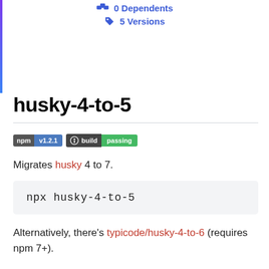0 Dependents
5 Versions
husky-4-to-5
[Figure (infographic): npm badge showing v1.2.1 and GitHub build passing badge]
Migrates husky 4 to 7.
Alternatively, there's typicode/husky-4-to-6 (requires npm 7+).